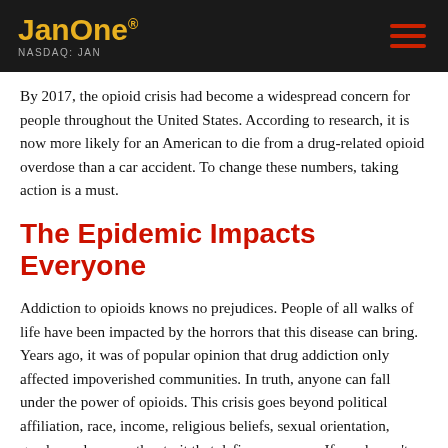JanOne® NASDAQ: JAN
By 2017, the opioid crisis had become a widespread concern for people throughout the United States. According to research, it is now more likely for an American to die from a drug-related opioid overdose than a car accident. To change these numbers, taking action is a must.
The Epidemic Impacts Everyone
Addiction to opioids knows no prejudices. People of all walks of life have been impacted by the horrors that this disease can bring. Years ago, it was of popular opinion that drug addiction only affected impoverished communities. In truth, anyone can fall under the power of opioids. This crisis goes beyond political affiliation, race, income, religious beliefs, sexual orientation, gender and every other trait that defines a person. If you haven't been personally touched by this crisis, it is highly likely that you